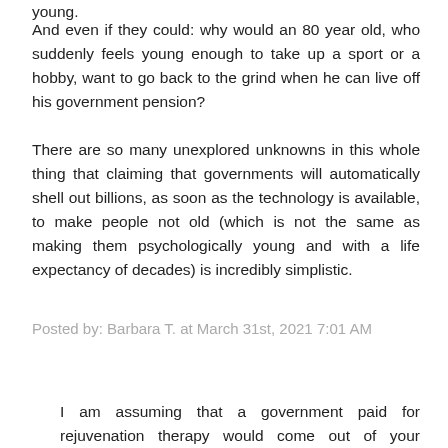young.
And even if they could: why would an 80 year old, who suddenly feels young enough to take up a sport or a hobby, want to go back to the grind when he can live off his government pension?
There are so many unexplored unknowns in this whole thing that claiming that governments will automatically shell out billions, as soon as the technology is available, to make people not old (which is not the same as making them psychologically young and with a life expectancy of decades) is incredibly simplistic.
Posted by: Barbara T. at March 31st, 2021 7:01 AM
I am assuming that a government paid for rejuvenation therapy would come out of your pension